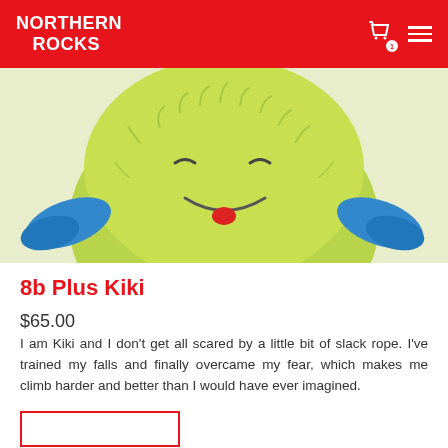NORTHERN ROCKS
[Figure (photo): Close-up photo of a green fluffy monster plush toy (Kiki) with blue arms and a red tongue, smiling]
8b Plus Kiki
$65.00
I am Kiki and I don't get all scared by a little bit of slack rope. I've trained my falls and finally overcame my fear, which makes me climb harder and better than I would have ever imagined.